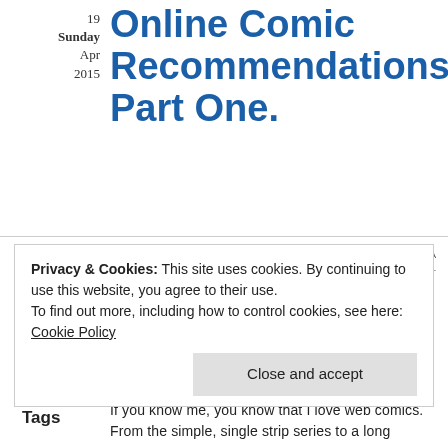19
Sunday
Apr
2015
Online Comic Recommendations! Part One.
Posted by Jesslyn "Marly" Buote in Ramblings By Jesslyn
≈ Leave a comment
Heyo!
Tags
If you know me, you know that I love web comics. From the simple, single strip series to a long
Privacy & Cookies: This site uses cookies. By continuing to use this website, you agree to their use.
To find out more, including how to control cookies, see here: Cookie Policy
Close and accept